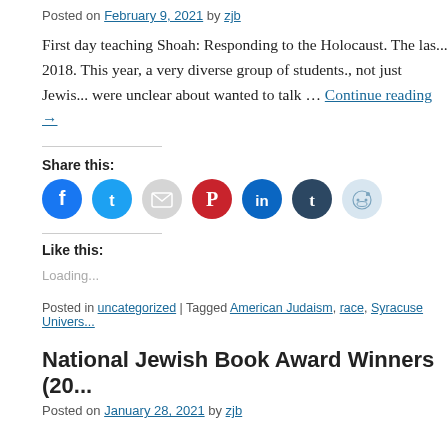Posted on February 9, 2021 by zjb
First day teaching Shoah: Responding to the Holocaust. The las... 2018. This year, a very diverse group of students., not just Jewis... were unclear about wanted to talk … Continue reading →
Share this:
[Figure (infographic): Row of social media share icon circles: Facebook (blue), Twitter (blue), Email (gray), Pinterest (red), LinkedIn (dark blue), Tumblr (dark blue/navy), Reddit (light blue/gray)]
Like this:
Loading...
Posted in uncategorized | Tagged American Judaism, race, Syracuse Univers...
National Jewish Book Award Winners (20...
Posted on January 28, 2021 by zjb